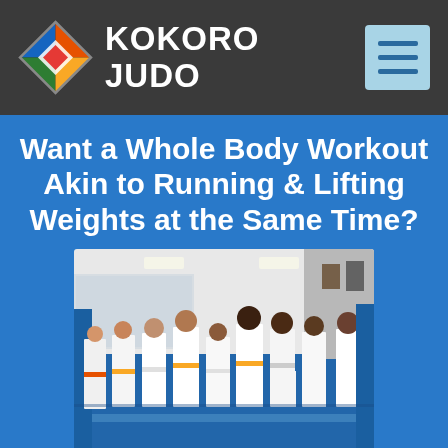KOKORO JUDO
Want a Whole Body Workout Akin to Running & Lifting Weights at the Same Time?
[Figure (photo): Group of judo students in white gi uniforms with colored belts (orange, yellow) standing in a line on a blue mat in a judo dojo/gym. The room has white walls, ceiling lights, and blue mats on the floor.]